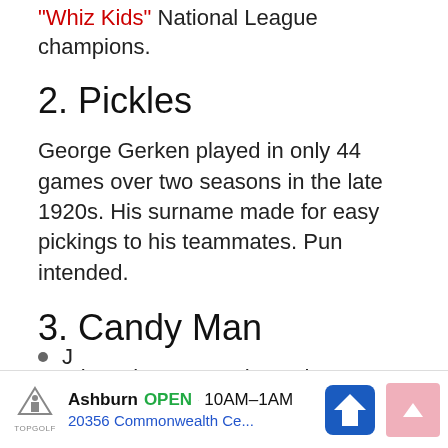"Whiz Kids" National League champions.
2. Pickles
George Gerken played in only 44 games over two seasons in the late 1920s. His surname made for easy pickings to his teammates. Pun intended.
3. Candy Man
It only makes sense that John Candelaria would be called the Candy Man.
Honorable Mention:
J…
[Figure (other): Advertisement banner for Topgolf Ashburn showing OPEN 10AM-1AM, 20356 Commonwealth Ce..., with navigation arrow icon and scroll-up button]